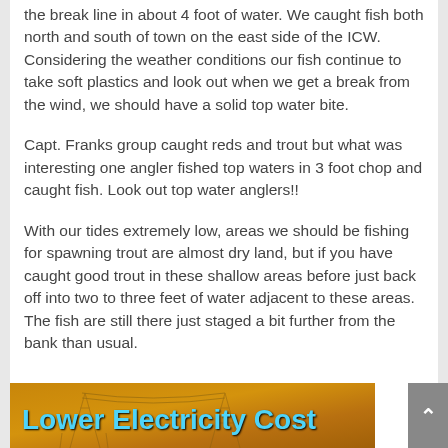the break line in about 4 foot of water. We caught fish both north and south of town on the east side of the ICW. Considering the weather conditions our fish continue to take soft plastics and look out when we get a break from the wind, we should have a solid top water bite.
Capt. Franks group caught reds and trout but what was interesting one angler fished top waters in 3 foot chop and caught fish. Look out top water anglers!!
With our tides extremely low, areas we should be fishing for spawning trout are almost dry land, but if you have caught good trout in these shallow areas before just back off into two to three feet of water adjacent to these areas. The fish are still there just staged a bit further from the bank than usual.
[Figure (illustration): Advertisement banner with text 'Lower Electricity Cost' in blue text on a brownish-orange background with power line imagery]